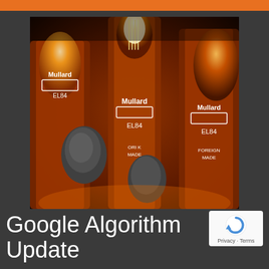[Figure (photo): Close-up photograph of multiple glowing Mullard EL84 vacuum tubes with orange/amber illumination from internal filaments. Tubes labeled 'Mullard' with shield logo and 'EL84' model number, also text 'FOREIGN MADE'. Dark background with warm orange glow.]
Google Algorithm Update
[Figure (logo): reCAPTCHA badge with blue circular arrow icon and text 'Privacy - Terms' below.]